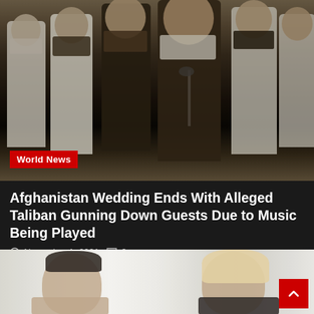[Figure (photo): Group of bearded men in traditional robes and turbans at a press conference or gathering, likely Taliban officials]
World News
Afghanistan Wedding Ends With Alleged Taliban Gunning Down Guests Due to Music Being Played
November 1, 2021  2
[Figure (photo): Young man with dark styled hair shirtless and a blonde woman in dark clothing, posed together]